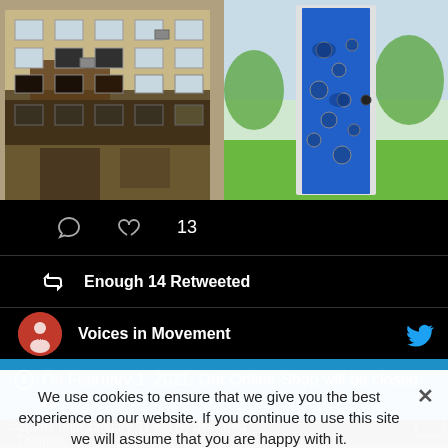[Figure (photo): Two photos side by side: left shows a damaged multi-story apartment building with fire damage and debris on balconies; right shows a bright blue painted door or surface with circular holes/bullet marks on a white frame, outdoors with green grass visible]
[Figure (screenshot): Twitter/social media action row on black background showing comment icon and heart icon with count '13']
13
Enough 14 Retweeted
Voices in Movement
On February 1, 2021, Our Online-Shop will be closed. All orders until January 31 will be delivered
Dismiss
We use cookies to ensure that we give you the best experience on our website. If you continue to use this site we will assume that you are happy with it.